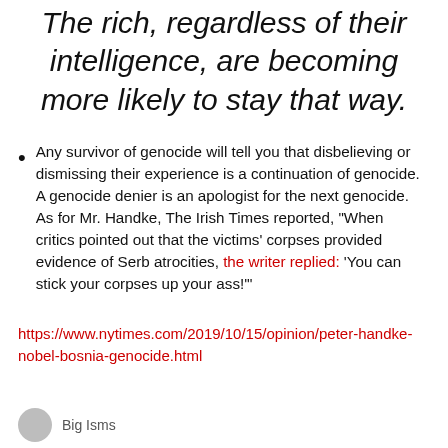The rich, regardless of their intelligence, are becoming more likely to stay that way.
Any survivor of genocide will tell you that disbelieving or dismissing their experience is a continuation of genocide. A genocide denier is an apologist for the next genocide. As for Mr. Handke, The Irish Times reported, "When critics pointed out that the victims' corpses provided evidence of Serb atrocities, the writer replied: 'You can stick your corpses up your ass!'"
https://www.nytimes.com/2019/10/15/opinion/peter-handke-nobel-bosnia-genocide.html
Big Isms